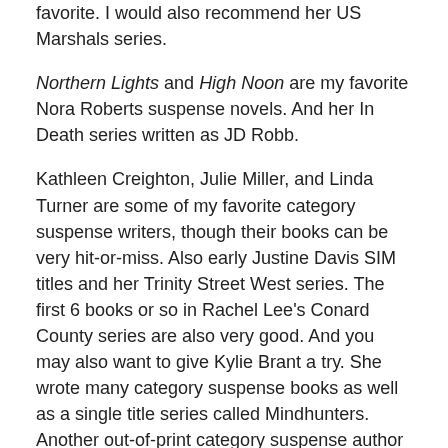favorite. I would also recommend her US Marshals series.
Northern Lights and High Noon are my favorite Nora Roberts suspense novels. And her In Death series written as JD Robb.
Kathleen Creighton, Julie Miller, and Linda Turner are some of my favorite category suspense writers, though their books can be very hit-or-miss. Also early Justine Davis SIM titles and her Trinity Street West series. The first 6 books or so in Rachel Lee's Conard County series are also very good. And you may also want to give Kylie Brant a try. She wrote many category suspense books as well as a single title series called Mindhunters. Another out-of-print category suspense author I always liked is Lee Magner.